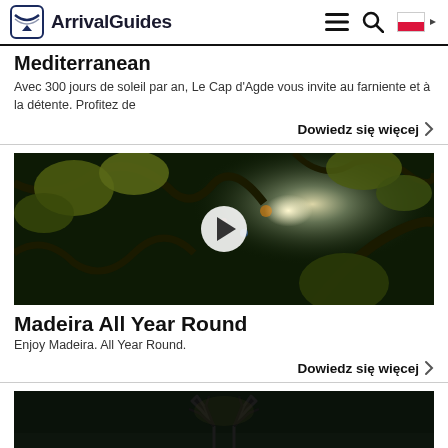ArrivalGuides
Mediterranean
Avec 300 jours de soleil par an, Le Cap d'Agde vous invite au farniente et à la détente. Profitez de
Dowiedz się więcej
[Figure (photo): Video thumbnail showing sunlight through tropical tree canopy with play button overlay]
Madeira All Year Round
Enjoy Madeira. All Year Round.
Dowiedz się więcej
[Figure (photo): Partial bottom image showing deer antlers in dark setting]